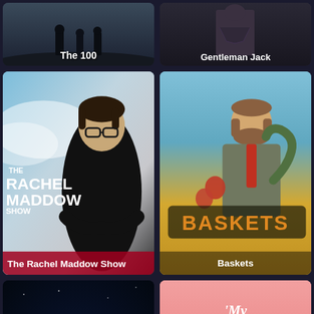[Figure (screenshot): TV show thumbnail for 'The 100' - dark background with silhouetted figures]
The 100
[Figure (screenshot): TV show thumbnail for 'Gentleman Jack' - dark moody background with figure]
Gentleman Jack
[Figure (screenshot): TV show thumbnail for 'The Rachel Maddow Show' - woman in black with glasses on blue/grey background]
The Rachel Maddow Show
[Figure (screenshot): TV show thumbnail for 'Baskets' - man in vest with circus/comedy theme, yellow background]
Baskets
[Figure (screenshot): TV show thumbnail - dark space background with neon light swirls]
[Figure (screenshot): TV show thumbnail for 'My Unorthodox Life' - pink background with three women]
My Unorthodox Life